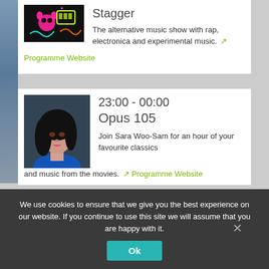[Figure (photo): Neon art illustration for Stagger show]
Stagger
The alternative music show with rap, electronica and experimental music.
Programme Website
[Figure (photo): Photo of Sara Woo-Sam, woman with dark hair wearing blue]
23:00 - 00:00
Opus 105
Join Sara Woo-Sam for an hour of your favourite classics and music from the movies.
Programme Website
We use cookies to ensure that we give you the best experience on our website. If you continue to use this site we will assume that you are happy with it.